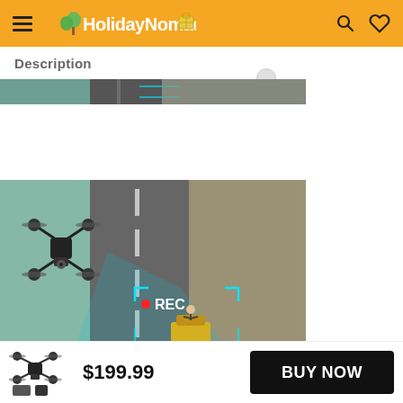HolidayNomad
Description
[Figure (photo): Partial aerial road photo strip at top of description section]
[Figure (photo): Drone flying over an aerial road view with a REC overlay targeting a vehicle below]
$199.99
BUY NOW